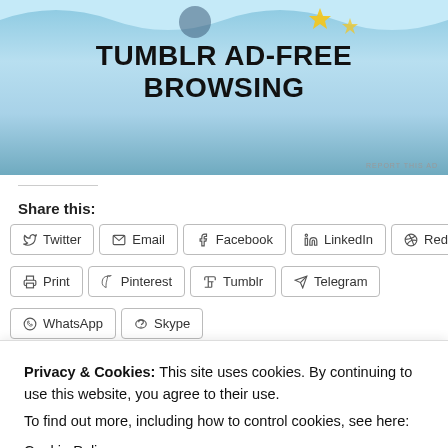[Figure (illustration): Tumblr Ad-Free Browsing advertisement banner with blue wavy background]
REPORT THIS AD
Share this:
Twitter  Email  Facebook  LinkedIn  Reddit  Print  Pinterest  Tumblr  Telegram  WhatsApp  Skype
Privacy & Cookies: This site uses cookies. By continuing to use this website, you agree to their use.
To find out more, including how to control cookies, see here:
Cookie Policy
Close and accept
everything
Orlando, day 3 – HANA, Boca bugs...